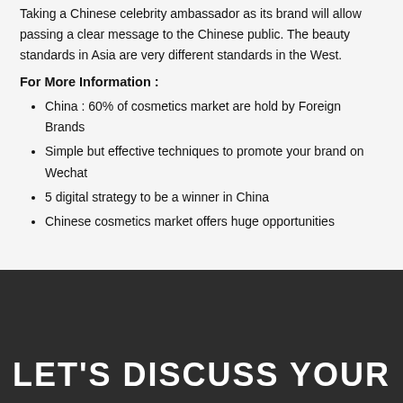Taking a Chinese celebrity ambassador as its brand will allow passing a clear message to the Chinese public. The beauty standards in Asia are very different standards in the West.
For More Information :
China : 60% of cosmetics market are hold by Foreign Brands
Simple but effective techniques to promote your brand on Wechat
5 digital strategy to be a winner in China
Chinese cosmetics market offers huge opportunities
LET'S DISCUSS YOUR